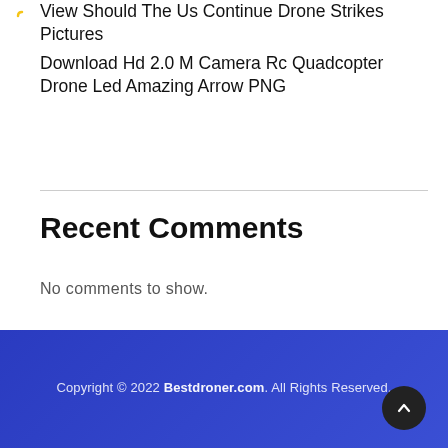View Should The Us Continue Drone Strikes Pictures
Download Hd 2.0 M Camera Rc Quadcopter Drone Led Amazing Arrow PNG
Recent Comments
No comments to show.
Copyright © 2022 Bestdroner.com. All Rights Reserved.